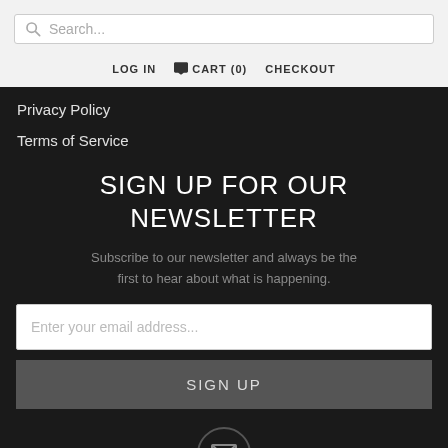Search...
LOG IN  CART (0)  CHECKOUT
Privacy Policy
Terms of Service
SIGN UP FOR OUR NEWSLETTER
Subscribe to our newsletter and always be the first to hear about what is happening.
Enter your email address...
SIGN UP
[Figure (illustration): Email envelope icon inside a circular border]